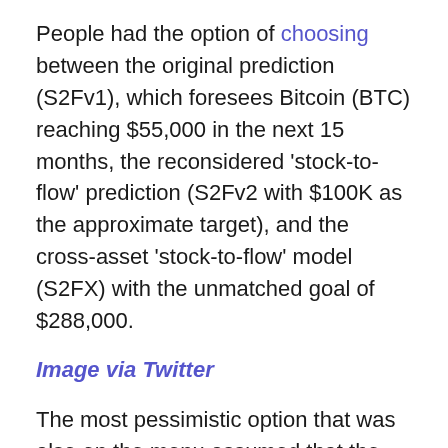People had the option of choosing between the original prediction (S2Fv1), which foresees Bitcoin (BTC) reaching $55,000 in the next 15 months, the reconsidered 'stock-to-flow' prediction (S2Fv2 with $100K as the approximate target), and the cross-asset 'stock-to-flow' model (S2FX) with the unmatched goal of $288,000.
Image via Twitter
The most pessimistic option that was also on the menu assumed that the price of Bitcoin (BTC) would stay below $55,000.
The voters leaned towards the most cautious prediction, 47% of Plus Report subscribers indicated that...